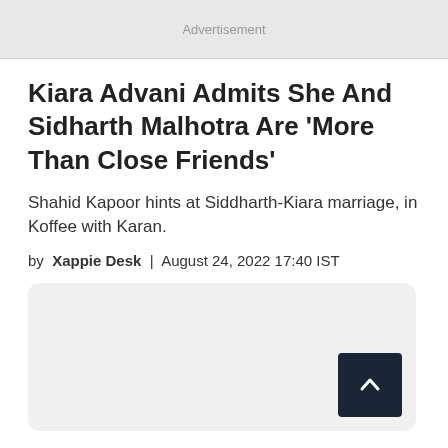Advertisement
Kiara Advani Admits She And Sidharth Malhotra Are ‘More Than Close Friends’
Shahid Kapoor hints at Siddharth-Kiara marriage, in Koffee with Karan.
by Xappie Desk | August 24, 2022 17:40 IST
[Figure (other): Light grey rounded card area with a dark navy scroll-to-top button in the bottom right corner showing an upward chevron arrow]